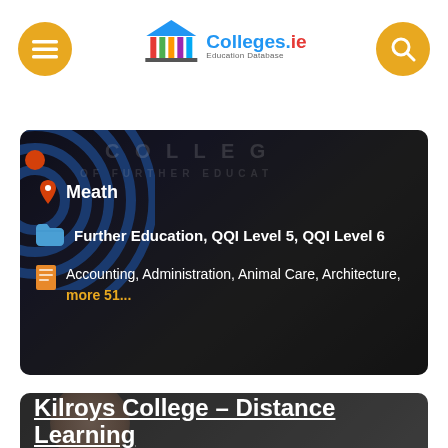[Figure (screenshot): Colleges.ie website header with logo, hamburger menu button and search button on gold/yellow circular backgrounds]
[Figure (screenshot): College card showing Meath location, Further Education QQI Level 5 and QQI Level 6 categories, and subjects including Accounting, Administration, Animal Care, Architecture, more 51...]
Meath
Further Education, QQI Level 5, QQI Level 6
Accounting, Administration, Animal Care, Architecture, more 51...
Kilroys College – Distance Learning